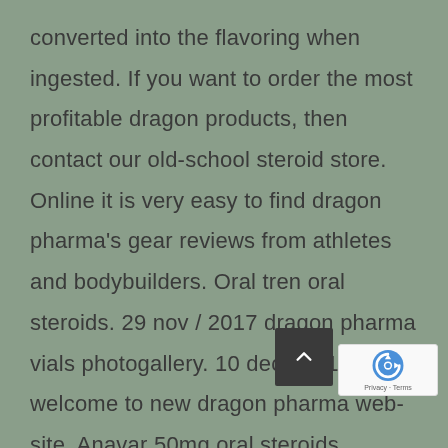converted into the flavoring when ingested. If you want to order the most profitable dragon products, then contact our old-school steroid store. Online it is very easy to find dragon pharma's gear reviews from athletes and bodybuilders. Oral tren oral steroids. 29 nov / 2017 dragon pharma vials photogallery. 10 dec / 2014 welcome to new dragon pharma web-site. Anavar 50mg oral steroids. Anavar – it is a product for a cycle of increasing strength and a set of dry weight. Pack of 50 tab. , 10 mg / tab. With this product